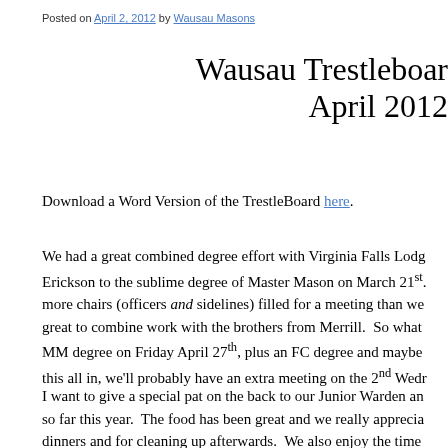Posted on April 2, 2012 by Wausau Masons
Wausau Trestleboard April 2012
Download a Word Version of the TrestleBoard here.
We had a great combined degree effort with Virginia Falls Lodge, raising Erickson to the sublime degree of Master Mason on March 21st. We had more chairs (officers and sidelines) filled for a meeting than we... great to combine work with the brothers from Merrill. So what... MM degree on Friday April 27th, plus an FC degree and maybe... this all in, we'll probably have an extra meeting on the 2nd Wedr...
I want to give a special pat on the back to our Junior Warden an... so far this year. The food has been great and we really apprecia... dinners and for cleaning up afterwards. We also enjoy the time... Masonic friendships and brotherly love.